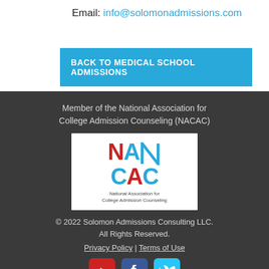Email: info@solomonadmissions.com
BACK TO MEDICAL SCHOOL ADMISSIONS
Member of the National Association for College Admission Counseling (NACAC)
[Figure (logo): NACAC - National Association for College Admission Counseling logo]
© 2022 Solomon Admissions Consulting LLC. All Rights Reserved.
Privacy Policy | Terms of Use
[Figure (other): Social media icons: YouTube, Facebook, Twitter]